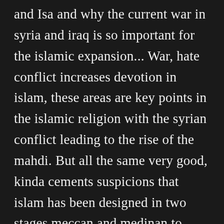and Isa and why the current war in syria and iraq is so important for the islamic expansion... War, hate conflict increases devotion in islam, these areas are key points in the islamic religion with the syrian conflict leading to the rise of the mahdi. But all the same very good, kinda cements suspicions that islam has been designed in two stages meccan and medinan to invade and dominate christian empires to ultimately beat